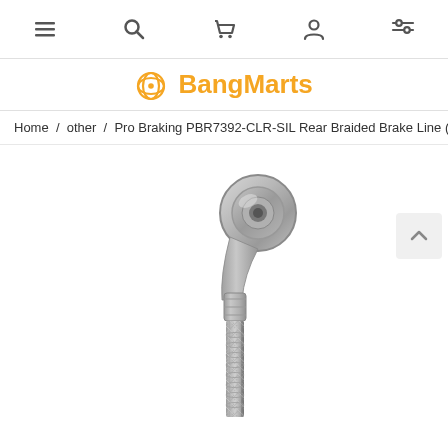BangMarts navigation bar with menu, search, cart, account, and filter icons
BangMarts
Home / other / Pro Braking PBR7392-CLR-SIL Rear Braided Brake Line (Tra
[Figure (photo): Close-up photo of a braided stainless steel brake line with a banjo fitting (circular loop end) at the top, showing the metallic silver/grey braided hose and fittings]